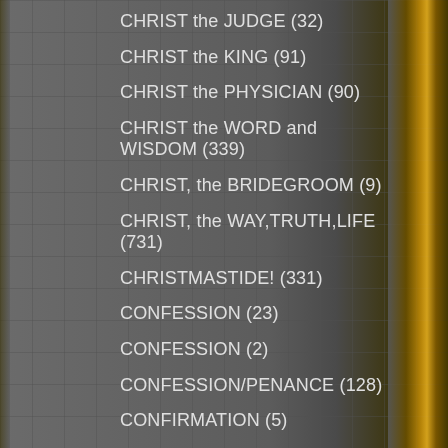CHRIST the JUDGE (32)
CHRIST the KING (91)
CHRIST the PHYSICIAN (90)
CHRIST the WORD and WISDOM (339)
CHRIST, the BRIDEGROOM (9)
CHRIST, the WAY,TRUTH,LIFE (731)
CHRISTMASTIDE! (331)
CONFESSION (23)
CONFESSION (2)
CONFESSION/PENANCE (128)
CONFIRMATION (5)
CONSECRATION Prayers (57)
CONTEMPLATIVE Prayer (25)